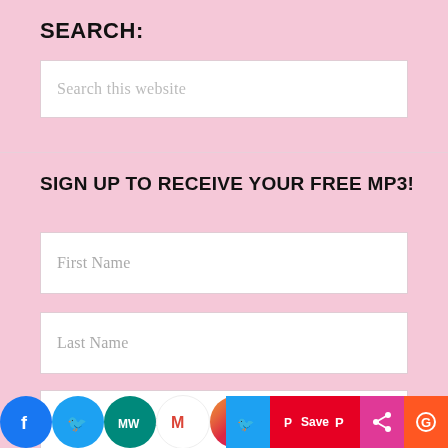SEARCH:
Search this website
SIGN UP TO RECEIVE YOUR FREE MP3!
First Name
Last Name
E-Mail Address